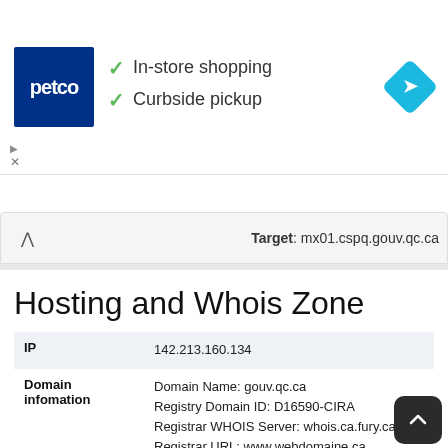[Figure (infographic): Petco ad banner with logo, checkmarks for In-store shopping and Curbside pickup, and a blue navigation diamond icon]
Target: mx01.cspq.gouv.qc.ca
Hosting and Whois Zone
| IP | 142.213.160.134 |
| Domain infomation | Domain Name: gouv.qc.ca
Registry Domain ID: D16590-CIRA
Registrar WHOIS Server: whois.ca.fury.ca
Registrar URL: www.webdomaine.ca
Updated Date: 2022-02-09T18:02:26Z
Creation Date: 2000-10-23T14:43:54Z
Registry Expiry Date: 2024-09-22T04:00
Registrar: A.R.C. Informatique Inc.
Registrar IANA ID: not applicable |